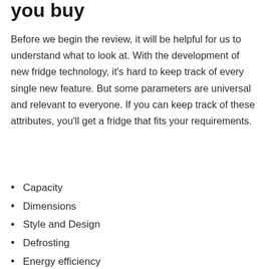you buy
Before we begin the review, it will be helpful for us to understand what to look at. With the development of new fridge technology, it’s hard to keep track of every single new feature. But some parameters are universal and relevant to everyone. If you can keep track of these attributes, you’ll get a fridge that fits your requirements.
Capacity
Dimensions
Style and Design
Defrosting
Energy efficiency
Additional Features